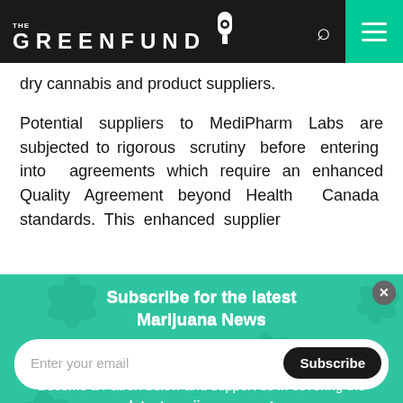THE GREENFUND
dry cannabis and product suppliers.
Potential suppliers to MediPharm Labs are subjected to rigorous scrutiny before entering into agreements which require an enhanced Quality Agreement beyond Health Canada standards. This enhanced supplier
Subscribe for the latest Marijuana News
Enter your email
Subscribe
Become a Patron below and support us in covering the latest marijuana news!
Become a patron